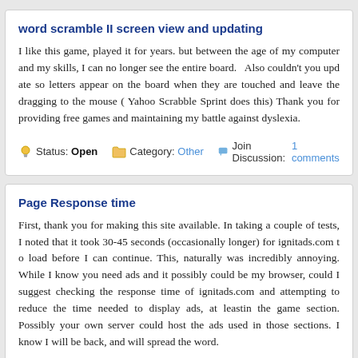word scramble II screen view and updating
I like this game, played it for years. but between the age of my computer and my skills, I can no longer see the entire board.   Also couldn't you update so letters appear on the board when they are touched and leave the dragging to the mouse ( Yahoo Scrabble Sprint does this) Thank you for providing free games and maintaining my battle against dyslexia.
Status: Open   Category: Other   Join Discussion: 1 comments
Page Response time
First, thank you for making this site available. In taking a couple of tests, I noted that it took 30-45 seconds (occasionally longer) for ignitads.com to load before I can continue. This, naturally was incredibly annoying. While I know you need ads and it possibly could be my browser, could I suggest checking the response time of ignitads.com and attempting to reduce the time needed to display ads, at least in the game section. Possibly your own server could host the ads used in those sections. I know I will be back, and will spread the word.